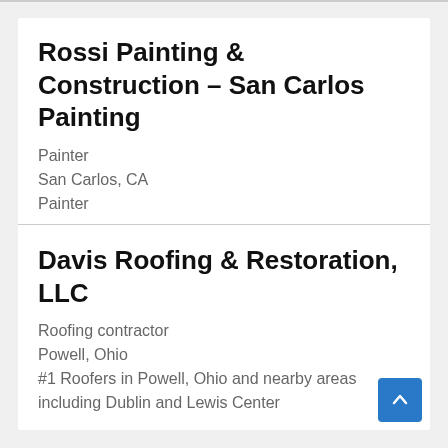Rossi Painting & Construction – San Carlos Painting
Painter
San Carlos, CA
Painter
Davis Roofing & Restoration, LLC
Roofing contractor
Powell, Ohio
#1 Roofers in Powell, Ohio and nearby areas including Dublin and Lewis Center